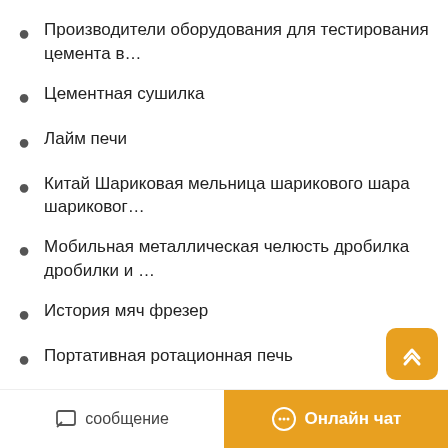Производители оборудования для тестирования цемента в…
Цементная сушилка
Лайм печи
Китай Шариковая мельница шарикового шара шариковог…
Мобильная металлическая челюсть дробилка дробилки и …
История мяч фрезер
Портативная ротационная печь
Каменная дробилка в Ричмонд 1911 живописи цена
Золтые стиральные машин...